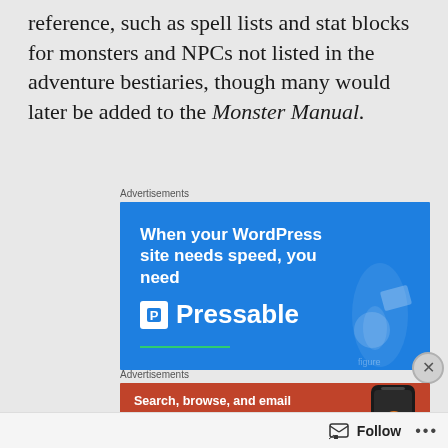reference, such as spell lists and stat blocks for monsters and NPCs not listed in the adventure bestiaries, though many would later be added to the Monster Manual.
[Figure (screenshot): Blue Pressable advertisement banner: 'When your WordPress site needs speed, you need Pressable' with white Pressable logo and a person holding a laptop in the background.]
[Figure (screenshot): Orange DuckDuckGo advertisement banner: 'Search, browse, and email with more privacy. All in One Free App' with a phone showing the DuckDuckGo logo.]
Follow ...